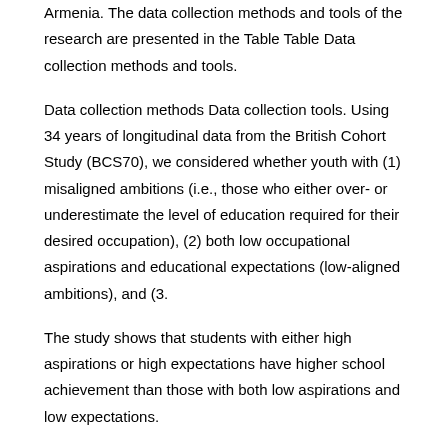Armenia. The data collection methods and tools of the research are presented in the Table Table Data collection methods and tools.
Data collection methods Data collection tools. Using 34 years of longitudinal data from the British Cohort Study (BCS70), we considered whether youth with (1) misaligned ambitions (i.e., those who either over- or underestimate the level of education required for their desired occupation), (2) both low occupational aspirations and educational expectations (low-aligned ambitions), and (3.
The study shows that students with either high aspirations or high expectations have higher school achievement than those with both low aspirations and low expectations.
Furthermore, complete alignment between high aspirations, high expectations and high achievement is the most important predictor of future educational behaviour among students. tions of high school male seniors in five Louisiana Parishes.
It was also concerned with analyzing the differences between